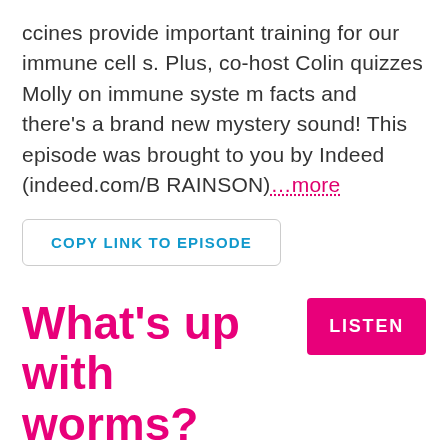ccines provide important training for our immune cells. Plus, co-host Colin quizzes Molly on immune system facts and there's a brand new mystery sound! This episode was brought to you by Indeed (indeed.com/BRAINSON)...more
COPY LINK TO EPISODE
What's up with worms?
LISTEN
Mar 08 2022
What's up with worms? How do they sleep? Why are they slimy? How do they move? Here at Brains On, the only way to find out is to embark on an EPIC QUEST!